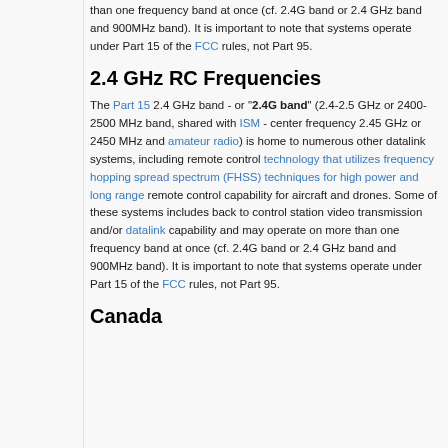than one frequency band at once (cf. 2.4G band or 2.4 GHz band and 900MHz band). It is important to note that systems operate under Part 15 of the FCC rules, not Part 95.
2.4 GHz RC Frequencies
The Part 15 2.4 GHz band - or "2.4G band" (2.4-2.5 GHz or 2400-2500 MHz band, shared with ISM - center frequency 2.45 GHz or 2450 MHz and amateur radio) is home to numerous other datalink systems, including remote control technology that utilizes frequency hopping spread spectrum (FHSS) techniques for high power and long range remote control capability for aircraft and drones. Some of these systems includes back to control station video transmission and/or datalink capability and may operate on more than one frequency band at once (cf. 2.4G band or 2.4 GHz band and 900MHz band). It is important to note that systems operate under Part 15 of the FCC rules, not Part 95.
Canada